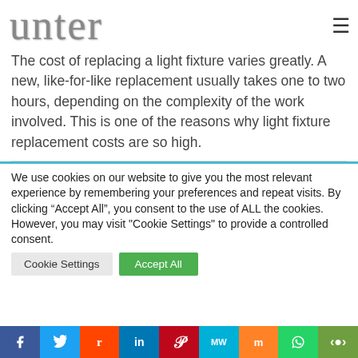unter
The cost of replacing a light fixture varies greatly. A new, like-for-like replacement usually takes one to two hours, depending on the complexity of the work involved. This is one of the reasons why light fixture replacement costs are so high.
We use cookies on our website to give you the most relevant experience by remembering your preferences and repeat visits. By clicking “Accept All”, you consent to the use of ALL the cookies. However, you may visit "Cookie Settings" to provide a controlled consent.
Facebook Twitter Reddit LinkedIn Pinterest MeWe Mix WhatsApp Share